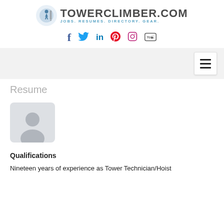[Figure (logo): TowerClimber.com logo with a climbing figure icon and tagline JOBS. RESUMES. DIRECTORY. GEAR.]
[Figure (infographic): Social media icons: Facebook, Twitter, LinkedIn, Pinterest, Instagram, YouTube]
[Figure (other): Hamburger navigation menu button]
Resume
[Figure (photo): Generic user profile photo placeholder — grey rounded rectangle with silhouette icon]
Qualifications
Nineteen years of experience as Tower Technician/Hoist